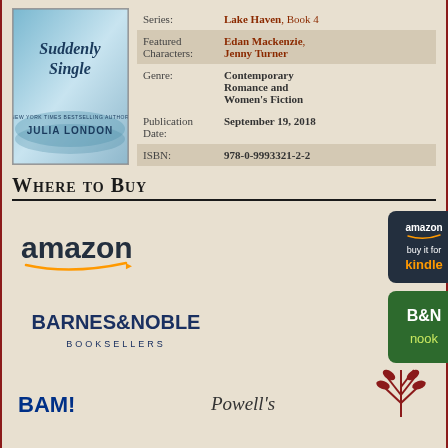[Figure (illustration): Book cover of 'Suddenly Single' by Julia London, Lake Haven Book 4, with a teal/blue watercolor design]
| Field | Value |
| --- | --- |
| Series: | Lake Haven, Book 4 |
| Featured Characters: | Edan Mackenzie, Jenny Turner |
| Genre: | Contemporary Romance and Women's Fiction |
| Publication Date: | September 19, 2018 |
| ISBN: | 978-0-9993321-2-2 |
Where to Buy
[Figure (logo): Amazon logo (text)]
[Figure (logo): Amazon buy it for Kindle button]
[Figure (logo): Barnes & Noble Booksellers logo]
[Figure (logo): B&N Nook logo]
[Figure (logo): BAM logo (partially visible)]
[Figure (logo): Powell's logo (partially visible)]
[Figure (logo): Partially visible logo with red design]